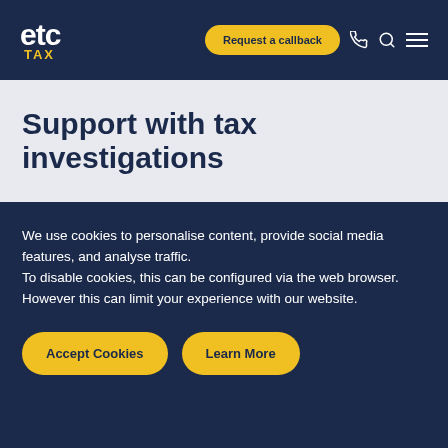etc TAX — Request a callback
Support with tax investigations
We use cookies to personalise content, provide social media features, and analyse traffic.
To disable cookies, this can be configured via the web browser. However this can limit your experience with our website.
Accept Cookies   Learn More